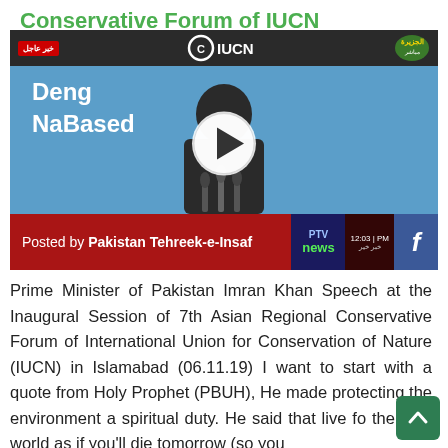Conservative Forum of IUCN
[Figure (screenshot): Video thumbnail showing Prime Minister Imran Khan speaking at a podium with IUCN backdrop. Video posted by Pakistan Tehreek-e-Insaf on Facebook. PTV News watermark visible. Play button overlay. Bottom bar reads: Posted by Pakistan Tehreek-e-Insaf with timestamp 12:03 PM.]
Prime Minister of Pakistan Imran Khan Speech at the Inaugural Session of 7th Asian Regional Conservative Forum of International Union for Conservation of Nature (IUCN) in Islamabad (06.11.19) I want to start with a quote from Holy Prophet (PBUH), He made protecting the environment a spiritual duty. He said that live for the next world as if you'll die tomorrow (so you